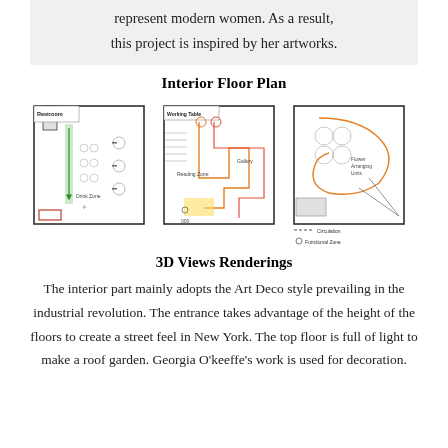represent modern women. As a result, this project is inspired by her artworks.
Interior Floor Plan
[Figure (engineering-diagram): Three interior floor plan diagrams side by side showing different floor layouts with labeled zones (Restroom, Drink Zone, Working Table, Reading Zone, Gallery, Flower Arranging Units), colored circulation paths (green, orange/yellow, pink/red), and functional zone circles. A legend at bottom right shows dashed line for Circulation and circle for Functional Zone.]
3D Views Renderings
The interior part mainly adopts the Art Deco style prevailing in the industrial revolution. The entrance takes advantage of the height of the floors to create a street feel in New York. The top floor is full of light to make a roof garden. Georgia O'keeffe's work is used for decoration.